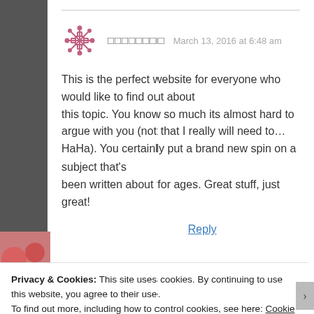[Figure (illustration): Decorative snowflake/cross avatar icon in pink/mauve color]
□□□□□□□□ March 13, 2016 at 6:48 am
This is the perfect website for everyone who would like to find out about this topic. You know so much its almost hard to argue with you (not that I really will need to…HaHa). You certainly put a brand new spin on a subject that's been written about for ages. Great stuff, just great!
Reply
Privacy & Cookies: This site uses cookies. By continuing to use this website, you agree to their use.
To find out more, including how to control cookies, see here: Cookie Policy
Close and accept